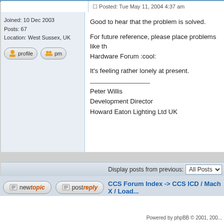Posted: Tue May 11, 2004 4:37 am
Joined: 10 Dec 2003
Posts: 67
Location: West Sussex, UK
[Figure (screenshot): Profile and PM buttons]
Good to hear that the problem is solved.

For future reference, please place problems like th... Hardware Forum :cool:

It's feeling rather lonely at present.

_______________
Peter Willis
Development Director
Howard Eaton Lighting Ltd UK
Display posts from previous: All Posts
[Figure (screenshot): New topic and Post reply buttons]
CCS Forum Index -> CCS ICD / Mach X / Load...
Page 1 of 1
Powered by phpBB © 2001, 200...